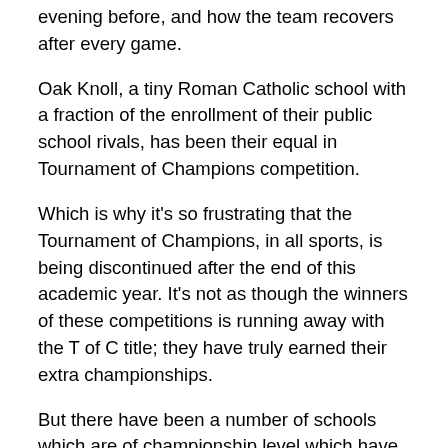evening before, and how the team recovers after every game.
Oak Knoll, a tiny Roman Catholic school with a fraction of the enrollment of their public school rivals, has been their equal in Tournament of Champions competition.
Which is why it's so frustrating that the Tournament of Champions, in all sports, is being discontinued after the end of this academic year. It's not as though the winners of these competitions is running away with the T of C title; they have truly earned their extra championships.
But there have been a number of schools which are of championship level which have never gotten to experience the rarified air of the Tournament of Champions. It is certainly a different experience, and, as a coach, you have to have your team doing everything right on and off the